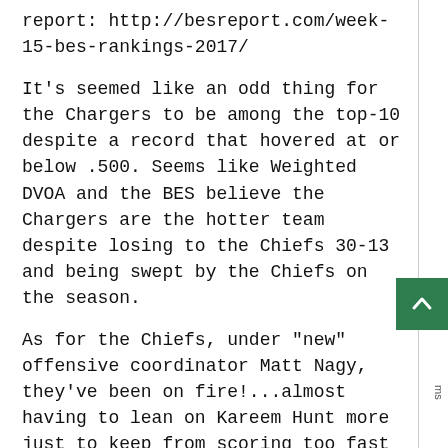report: http://besreport.com/week-15-bes-rankings-2017/
It's seemed like an odd thing for the Chargers to be among the top-10 despite a record that hovered at or below .500. Seems like Weighted DVOA and the BES believe the Chargers are the hotter team despite losing to the Chiefs 30-13 and being swept by the Chiefs on the season.
As for the Chiefs, under "new" offensive coordinator Matt Nagy, they've been on fire!...almost having to lean on Kareem Hunt more just to keep from scoring too fast and gassing the defense. Im not surprised to see them ranked 5th by DVOA in Offense. The BES arguably has them too low at 14th.
However, their defense has been phenomenal in the last two weeks. DVOA seems reluctant to